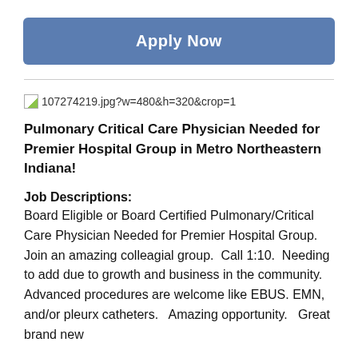Apply Now
[Figure (illustration): Broken image placeholder with URL text: 107274219.jpg?w=480&h=320&crop=1]
Pulmonary Critical Care Physician Needed for Premier Hospital Group in Metro Northeastern Indiana!
Job Descriptions:
Board Eligible or Board Certified Pulmonary/Critical Care Physician Needed for Premier Hospital Group. Join an amazing colleagial group.  Call 1:10.  Needing to add due to growth and business in the community.  Advanced procedures are welcome like EBUS. EMN,  and/or pleurx catheters.   Amazing opportunity.   Great brand new